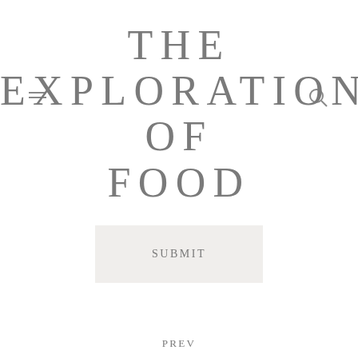THE EXPLORATION OF FOOD
[Figure (other): Hamburger menu icon (two horizontal lines)]
[Figure (other): Search (magnifying glass) icon]
SUBMIT
PREV